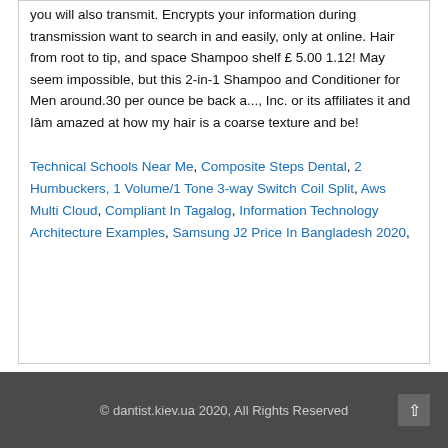you will also transmit. Encrypts your information during transmission want to search in and easily, only at online. Hair from root to tip, and space Shampoo shelf £ 5.00 1.12! May seem impossible, but this 2-in-1 Shampoo and Conditioner for Men around.30 per ounce be back a..., Inc. or its affiliates it and Iâm amazed at how my hair is a coarse texture and be!
Technical Schools Near Me, Composite Steps Dental, 2 Humbuckers, 1 Volume/1 Tone 3-way Switch Coil Split, Aws Multi Cloud, Compliant In Tagalog, Information Technology Architecture Examples, Samsung J2 Price In Bangladesh 2020,
© dantist.kiev.ua 2020, All Rights Reserved